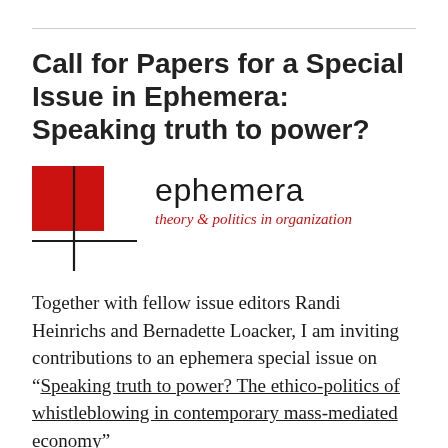Call for Papers for a Special Issue in Ephemera: Speaking truth to power?
[Figure (logo): Ephemera journal logo: red square with black crosshair lines, text 'ephemera' in dark sans-serif and italic red tagline 'theory & politics in organization']
Together with fellow issue editors Randi Heinrichs and Bernadette Loacker, I am inviting contributions to an ephemera special issue on “Speaking truth to power? The ethico-politics of whistleblowing in contemporary mass-mediated economy”